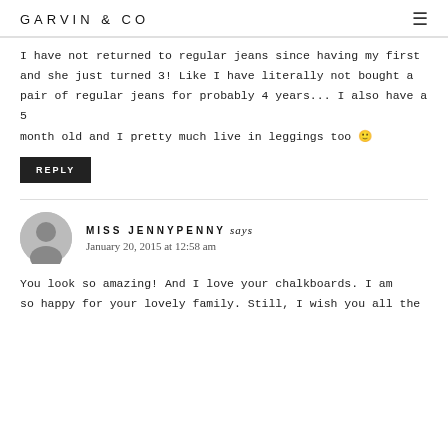GARVIN & CO
I have not returned to regular jeans since having my first and she just turned 3! Like I have literally not bought a pair of regular jeans for probably 4 years... I also have a 5 month old and I pretty much live in leggings too 🙂
REPLY
MISS JENNYPENNY says
January 20, 2015 at 12:58 am
You look so amazing! And I love your chalkboards. I am so happy for your lovely family. Still, I wish you all the